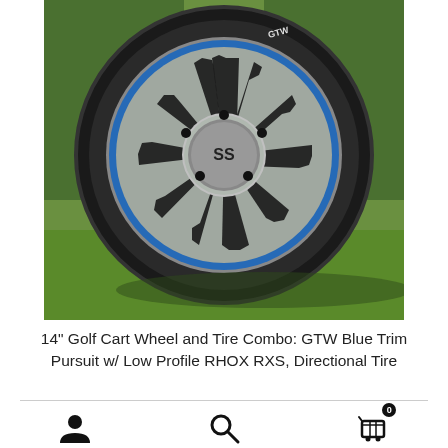[Figure (photo): A 14-inch golf cart wheel with blue trim (GTW Pursuit) mounted with a low profile RHOX RXS directional tire, photographed on green grass with trees in the background. The wheel features a multi-spoke design with blue accent coloring between the spokes and an SS center cap.]
14" Golf Cart Wheel and Tire Combo: GTW Blue Trim Pursuit w/ Low Profile RHOX RXS, Directional Tire